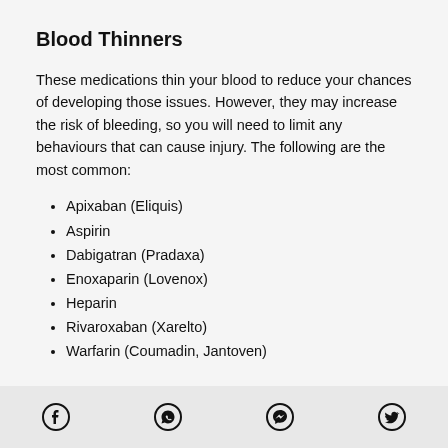Blood Thinners
These medications thin your blood to reduce your chances of developing those issues. However, they may increase the risk of bleeding, so you will need to limit any behaviours that can cause injury. The following are the most common:
Apixaban (Eliquis)
Aspirin
Dabigatran (Pradaxa)
Enoxaparin (Lovenox)
Heparin
Rivaroxaban (Xarelto)
Warfarin (Coumadin, Jantoven)
Social share icons: Facebook, WhatsApp, Messenger, Twitter